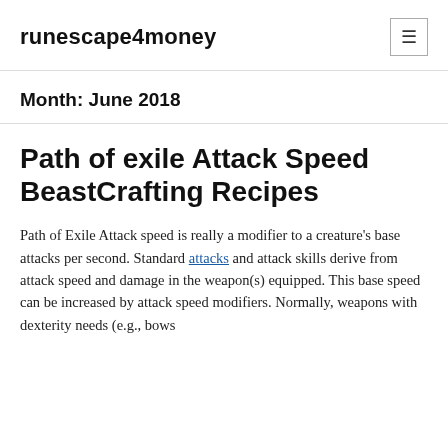runescape4money
Month: June 2018
Path of exile Attack Speed BeastCrafting Recipes
Path of Exile Attack speed is really a modifier to a creature's base attacks per second. Standard attacks and attack skills derive from attack speed and damage in the weapon(s) equipped. This base speed can be increased by attack speed modifiers. Normally, weapons with dexterity needs (e.g., bows